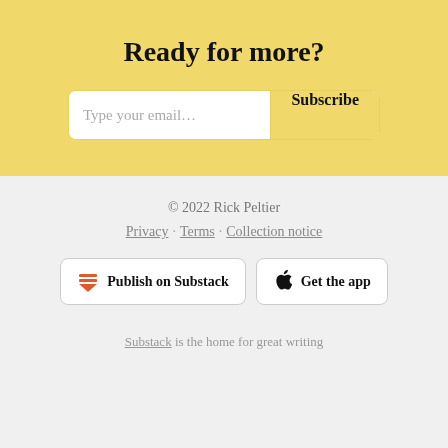Ready for more?
[Figure (screenshot): Email subscription input with 'Type your email...' placeholder and 'Subscribe' button]
© 2022 Rick Peltier
Privacy · Terms · Collection notice
[Figure (screenshot): Two buttons: 'Publish on Substack' with Substack logo, and 'Get the app' with Apple logo]
Substack is the home for great writing